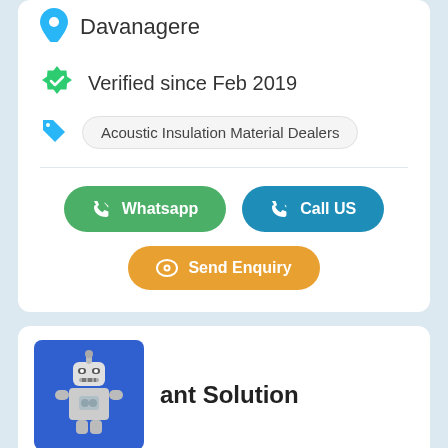Davanagere
Verified since Feb 2019
Acoustic Insulation Material Dealers
Whatsapp
Call US
Send Enquiry
ant Solution